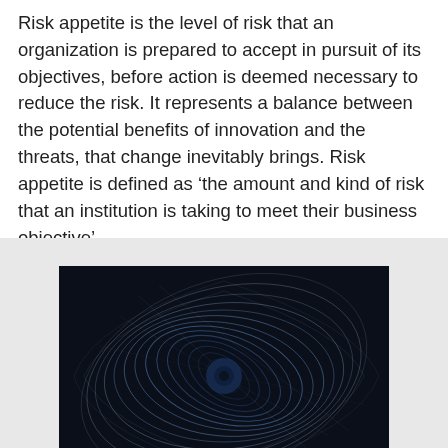Risk appetite is the level of risk that an organization is prepared to accept in pursuit of its objectives, before action is deemed necessary to reduce the risk. It represents a balance between the potential benefits of innovation and the threats, that change inevitably brings. Risk appetite is defined as ‘the amount and kind of risk that an institution is taking to meet their business objective’.
[Figure (photo): A swirling abstract image resembling star trails or a vortex, with concentric circular light streaks on a dark blue/black background, suggesting motion and complexity.]